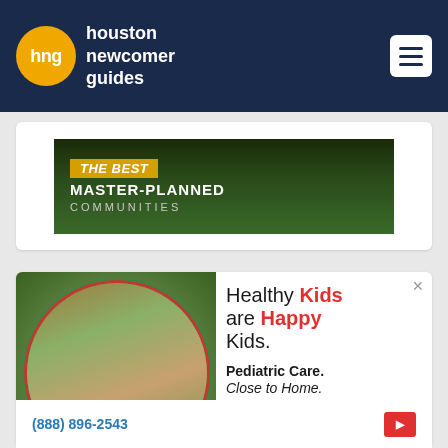[Figure (logo): Houston Newcomer Guides logo with orange circle containing 'hng' text and navigation hamburger menu]
[Figure (photo): Banner advertisement: 'THE BEST MASTER-PLANNED COMMUNITIES' on a dark green background]
[Figure (photo): Pediatric care advertisement with group of smiling children in circular photo crop]
Healthy Kids are Happy Kids.
Pediatric Care. Close to Home.
(888) 896-2543